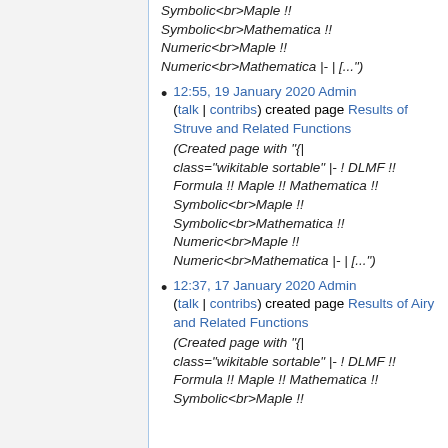Symbolic<br>Maple !! Symbolic<br>Mathematica !! Numeric<br>Maple !! Numeric<br>Mathematica |- | (...")
12:55, 19 January 2020 Admin (talk | contribs) created page Results of Struve and Related Functions (Created page with "{| class="wikitable sortable" |- ! DLMF !! Formula !! Maple !! Mathematica !! Symbolic<br>Maple !! Symbolic<br>Mathematica !! Numeric<br>Maple !! Numeric<br>Mathematica |- | (...")
12:37, 17 January 2020 Admin (talk | contribs) created page Results of Airy and Related Functions (Created page with "{| class="wikitable sortable" |- ! DLMF !! Formula !! Maple !! Mathematica !! Symbolic<br>Maple !! ...